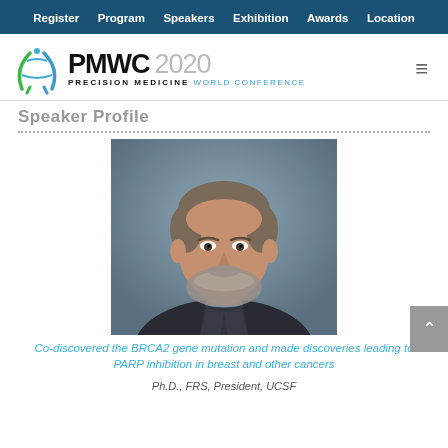Register  Program  Speakers  Exhibition  Awards  Location
[Figure (logo): PMWC 2020 Precision Medicine World Conference logo with stylized A figure in green and blue]
Speaker Profile
[Figure (photo): Professional headshot of a middle-aged man with gray-brown hair and beard wearing a dark jacket and blue shirt, against a blurred blue-gray background]
Co-discovered the BRCA2 gene mutation and made discoveries leading to PARP inhibition in breast and other cancers
Ph.D., FRS, President, UCSF